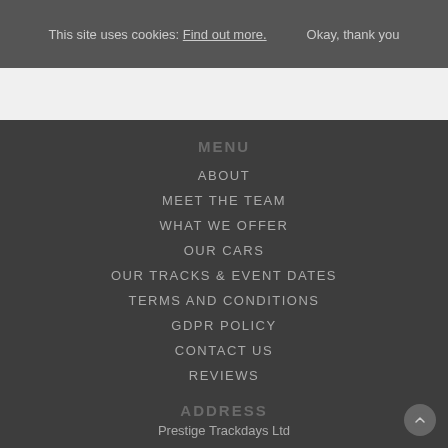This site uses cookies: Find out more.    Okay, thank you
MENU
ABOUT
MEET THE TEAM
WHAT WE OFFER
OUR CARS
OUR TRACKS & EVENT DATES
TERMS AND CONDITIONS
GDPR POLICY
CONTACT US
REVIEWS
ADDRESS
Prestige Track days Ltd